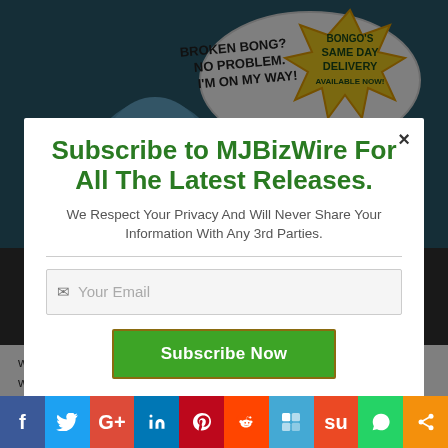[Figure (illustration): Cartoon background image showing a blue alien character with speech bubble saying 'BROKEN BONG? NO PROBLEM. I'M ON MY WAY!' and a yellow starburst with text 'BONGO'S SAME DAY DELIVERY AVAILABLE NOW!']
Subscribe to MJBizWire For All The Latest Releases.
We Respect Your Privacy And Will Never Share Your Information With Any 3rd Parties.
Your Email
Subscribe Now
way smokers of legal marijuana in Seattle and Tacoma buy their water pipes. The online headshop, based in Federal Way, is one of the first companies in the nation to offer same day delivery of water pipes to customers.
[Figure (infographic): Social media sharing bar with icons for Facebook, Twitter, Google+, LinkedIn, Pinterest, Reddit, Flipboard, StumbleUpon, WhatsApp, and Share]